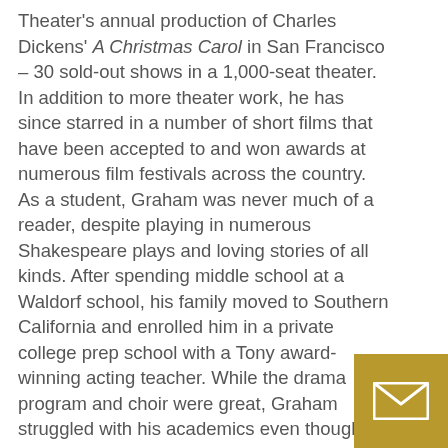Theater's annual production of Charles Dickens' A Christmas Carol in San Francisco – 30 sold-out shows in a 1,000-seat theater.  In addition to more theater work, he has since starred in a number of short films that have been accepted to and won awards at numerous film festivals across the country.
As a student, Graham was never much of a reader, despite playing in numerous Shakespeare plays and loving stories of all kinds.  After spending middle school at a Waldorf school, his family moved to Southern California and enrolled him in a private college prep school with a Tony award-winning acting teacher.  While the drama program and choir were great, Graham struggled with his academics even though he put in a lot of time and effort.
He then enrolled at Elite halfway through his sophomore year, just as he was finally diagnosed with a severe case of dyslexia. At Elite, Graham got the individual attention, encouragement, and support he
[Figure (other): Gold/dark yellow square button with a white envelope/email icon in the center, positioned in the bottom-right corner of the page.]